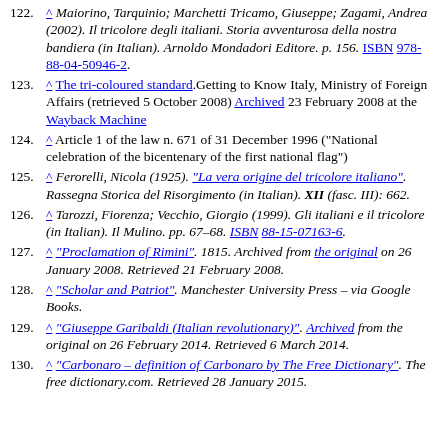122. ^ Maiorino, Tarquinio; Marchetti Tricamo, Giuseppe; Zagami, Andrea (2002). Il tricolore degli italiani. Storia avventurosa della nostra bandiera (in Italian). Arnoldo Mondadori Editore. p. 156. ISBN 978-88-04-50946-2.
123. ^ The tri-coloured standard. Getting to Know Italy, Ministry of Foreign Affairs (retrieved 5 October 2008) Archived 23 February 2008 at the Wayback Machine
124. ^ Article 1 of the law n. 671 of 31 December 1996 ("National celebration of the bicentenary of the first national flag")
125. ^ Ferorelli, Nicola (1925). "La vera origine del tricolore italiano". Rassegna Storica del Risorgimento (in Italian). XII (fasc. III): 662.
126. ^ Tarozzi, Fiorenza; Vecchio, Giorgio (1999). Gli italiani e il tricolore (in Italian). Il Mulino. pp. 67–68. ISBN 88-15-07163-6.
127. ^ "Proclamation of Rimini". 1815. Archived from the original on 26 January 2008. Retrieved 21 February 2008.
128. ^ "Scholar and Patriot". Manchester University Press – via Google Books.
129. ^ "Giuseppe Garibaldi (Italian revolutionary)". Archived from the original on 26 February 2014. Retrieved 6 March 2014.
130. ^ "Carbonaro – definition of Carbonaro by The Free Dictionary". The free dictionary.com. Retrieved 28 January 2015.